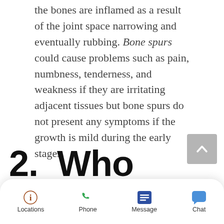the bones are inflamed as a result of the joint space narrowing and eventually rubbing. Bone spurs could cause problems such as pain, numbness, tenderness, and weakness if they are irritating adjacent tissues but bone spurs do not present any symptoms if the growth is mild during the early stages.
2. Who
[Figure (other): Navigation bar with four icons: Locations (info icon in brown), Phone (phone icon in green), Message (list icon in dark blue), Chat (chat bubble icon in blue), and a scroll-to-top button (grey square with upward chevron)]